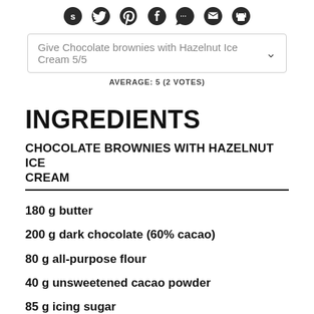[Figure (illustration): Row of social sharing icons: StumbleUpon, Twitter, Pinterest, Facebook, comment bubble, email, print]
Give Chocolate brownies with Hazelnut Ice Cream 5/5
AVERAGE: 5 (2 VOTES)
INGREDIENTS
CHOCOLATE BROWNIES WITH HAZELNUT ICE CREAM
180 g butter
200 g dark chocolate (60% cacao)
80 g all-purpose flour
40 g unsweetened cacao powder
85 g icing sugar